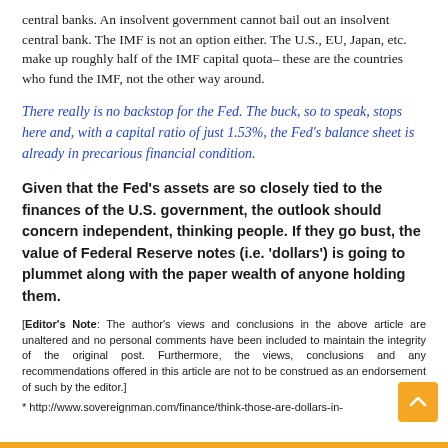central banks. An insolvent government cannot bail out an insolvent central bank. The IMF is not an option either. The U.S., EU, Japan, etc. make up roughly half of the IMF capital quota– these are the countries who fund the IMF, not the other way around.
There really is no backstop for the Fed. The buck, so to speak, stops here and, with a capital ratio of just 1.53%, the Fed's balance sheet is already in precarious financial condition.
Given that the Fed's assets are so closely tied to the finances of the U.S. government, the outlook should concern independent, thinking people. If they go bust, the value of Federal Reserve notes (i.e. 'dollars') is going to plummet along with the paper wealth of anyone holding them.
[Editor's Note: The author's views and conclusions in the above article are unaltered and no personal comments have been included to maintain the integrity of the original post. Furthermore, the views, conclusions and any recommendations offered in this article are not to be construed as an endorsement of such by the editor.]
* http://www.sovereignman.com/finance/think-those-are-dollars-in-